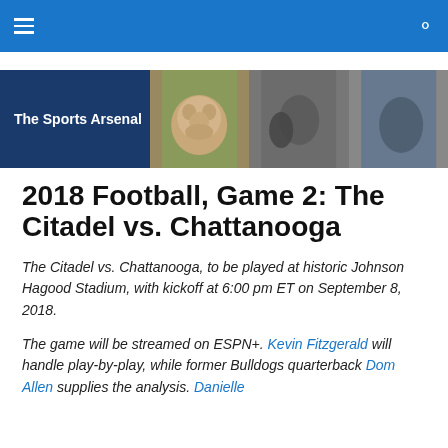The Sports Arsenal — navigation bar
[Figure (illustration): The Sports Arsenal website banner with logo text on dark blue background and sports photos including a bulldog mascot, football action shots]
2018 Football, Game 2: The Citadel vs. Chattanooga
The Citadel vs. Chattanooga, to be played at historic Johnson Hagood Stadium, with kickoff at 6:00 pm ET on September 8, 2018.
The game will be streamed on ESPN+. Kevin Fitzgerald will handle play-by-play, while former Bulldogs quarterback Dom Allen supplies the analysis. Danielle